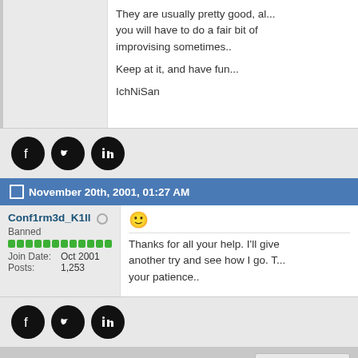They are usually pretty good, although you will have to do a fair bit of improvising sometimes..
Keep at it, and have fun...
IchNiSan
[Figure (other): Social media share icons: Facebook, Twitter, LinkedIn]
November 20th, 2001, 01:27 AM
Conf1rm3d_K1ll
Banned
Join Date: Oct 2001
Posts: 1,253
[Figure (other): Smiley face emoji]
Thanks for all your help. I'll give another try and see how I go. T... your patience..
[Figure (other): Social media share icons: Facebook, Twitter, LinkedIn]
Quick Navigation
▼ Security Archi